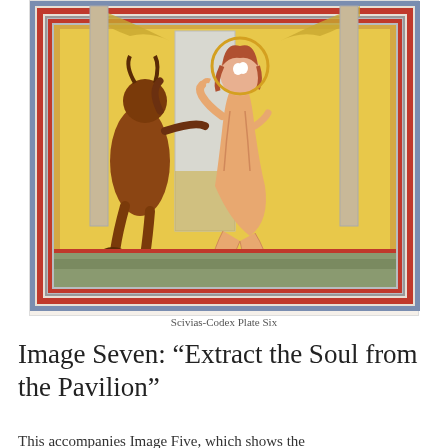[Figure (illustration): Medieval illuminated manuscript image (Scivias-Codex Plate Six) showing a kneeling robed figure with hands raised in supplication, a dark demon-like creature reaching from the left, and decorative architectural framing with yellow background. Ornate bordered frame with red, blue, and gray bands.]
Scivias-Codex Plate Six
Image Seven: “Extract the Soul from the Pavilion”
This accompanies Image Five, which shows the